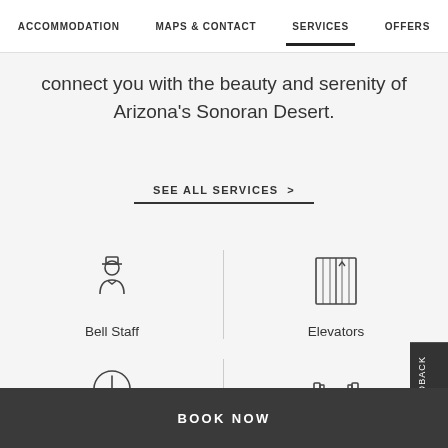ACCOMMODATION   MAPS & CONTACT   SERVICES   OFFERS
connect you with the beauty and serenity of Arizona's Sonoran Desert.
SEE ALL SERVICES >
[Figure (illustration): Bell Staff icon - person with hat]
Bell Staff
[Figure (illustration): Elevators icon - elevator doors]
Elevators
[Figure (illustration): Clock icon for Express Check-]
Express Check-
[Figure (illustration): Dumbbell icon for Fitness Center]
Fitness Center
BOOK NOW